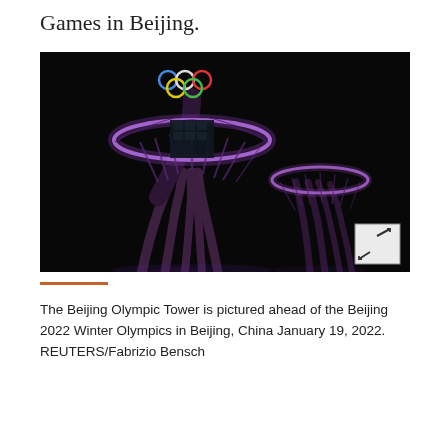Games in Beijing.
[Figure (photo): Night photo of the Beijing Olympic Tower illuminated in purple light, with the Olympic rings glowing in color (blue, black, red, yellow, green) at the top. The tower has a distinctive tree-like branching structure. A smaller similar tower is visible to the right. The background is black night sky. An expand icon (arrows) is visible in the bottom-right corner of the image.]
The Beijing Olympic Tower is pictured ahead of the Beijing 2022 Winter Olympics in Beijing, China January 19, 2022. REUTERS/Fabrizio Bensch